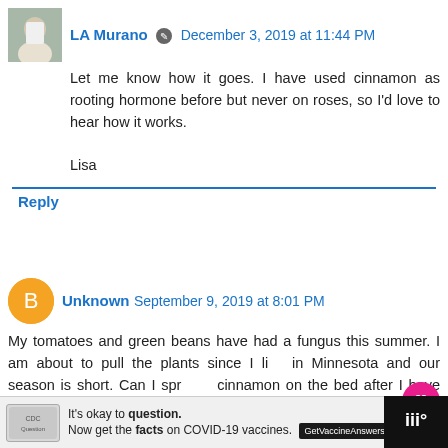LA Murano · December 3, 2019 at 11:44 PM
Let me know how it goes. I have used cinnamon as rooting hormone before but never on roses, so I'd love to hear how it works.

Lisa
Reply
Unknown · September 9, 2019 at 8:01 PM
My tomatoes and green beans have had a fungus this summer. I am about to pull the plants since I live in Minnesota and our season is short. Can I sprinkle cinnamon on the bed after I have destroyed the plants to get the bed ready for next spring. I also add compost and manure in the fall.
[Figure (screenshot): Ad banner: It's okay to question. Now get the facts on COVID-19 vaccines. GetVaccineAnswers.org]